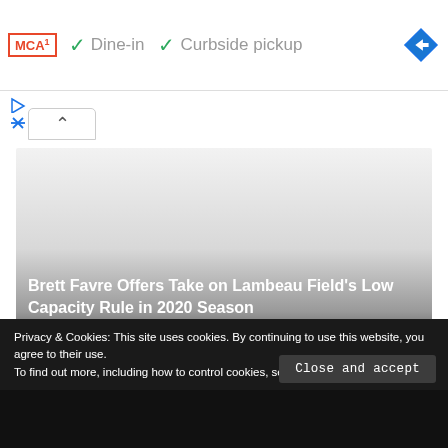[Figure (screenshot): Top browser bar showing MCA logo, dine-in and curbside pickup checkmarks, and a Google Maps navigation icon]
✓ Dine-in  ✓ Curbside pickup
[Figure (screenshot): Collapse chevron button and play/close mini icons]
[Figure (photo): Large image area fading from light gray to dark gradient, showing a news article thumbnail]
Brett Favre Offers Take on Lambeau Field's Low Capacity Rule in 2020 Season
Privacy & Cookies: This site uses cookies. By continuing to use this website, you agree to their use.
To find out more, including how to control cookies, see here: Cookie Policy
Close and accept